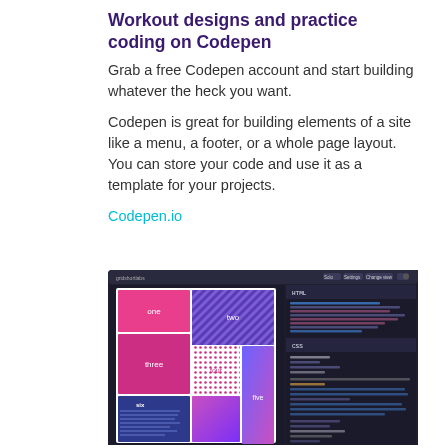Workout designs and practice coding on Codepen
Grab a free Codepen account and start building whatever the heck you want.
Codepen is great for building elements of a site like a menu, a footer, or a whole page layout. You can store your code and use it as a template for your projects.
Codepen.io
[Figure (screenshot): Screenshot of the Codepen.io interface showing a CSS grid layout with colored boxes labeled one, two, three, four, five, six on the left panel and HTML/CSS code editor on the right panel.]